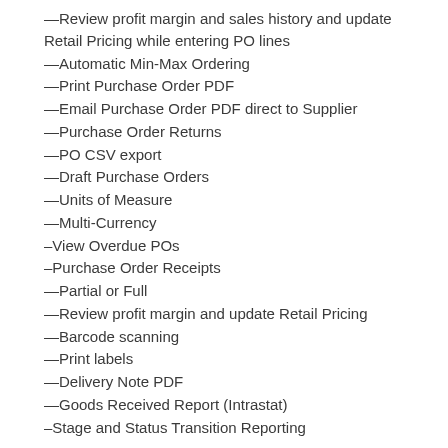—Review profit margin and sales history and update Retail Pricing while entering PO lines
—Automatic Min-Max Ordering
—Print Purchase Order PDF
—Email Purchase Order PDF direct to Supplier
—Purchase Order Returns
—PO CSV export
—Draft Purchase Orders
—Units of Measure
—Multi-Currency
–View Overdue POs
–Purchase Order Receipts
—Partial or Full
—Review profit margin and update Retail Pricing
—Barcode scanning
—Print labels
—Delivery Note PDF
—Goods Received Report (Intrastat)
–Stage and Status Transition Reporting